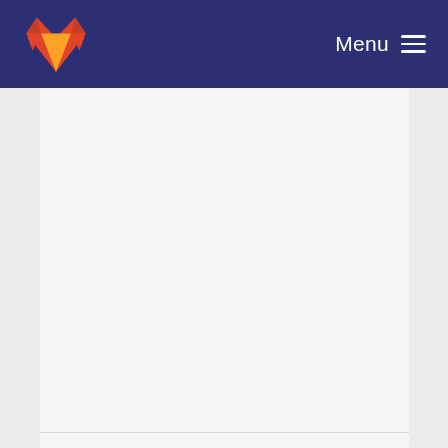GitLab — Menu
irma_configuration and scheme manager downloa... Sietse Ringers committed 4 years ago